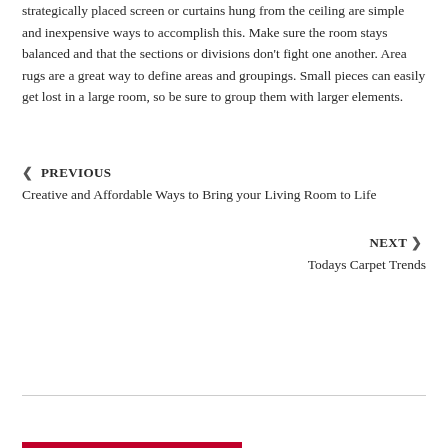strategically placed screen or curtains hung from the ceiling are simple and inexpensive ways to accomplish this. Make sure the room stays balanced and that the sections or divisions don't fight one another. Area rugs are a great way to define areas and groupings. Small pieces can easily get lost in a large room, so be sure to group them with larger elements.
❮ PREVIOUS
Creative and Affordable Ways to Bring your Living Room to Life
NEXT ❯
Todays Carpet Trends